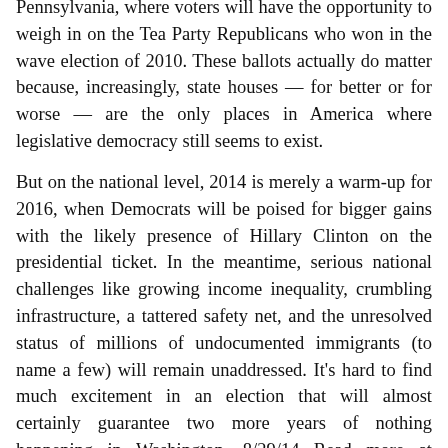Pennsylvania, where voters will have the opportunity to weigh in on the Tea Party Republicans who won in the wave election of 2010. These ballots actually do matter because, increasingly, state houses — for better or for worse — are the only places in America where legislative democracy still seems to exist.
But on the national level, 2014 is merely a warm-up for 2016, when Democrats will be poised for bigger gains with the likely presence of Hillary Clinton on the presidential ticket. In the meantime, serious national challenges like growing income inequality, crumbling infrastructure, a tattered safety net, and the unresolved status of millions of undocumented immigrants (to name a few) will remain unaddressed. It's hard to find much excitement in an election that will almost certainly guarantee two more years of nothing happening in Washington. 8/29/14 Read more at http://www.bostonglobe.com/opinion/2014/08/29/congressional-elections-expect-more-